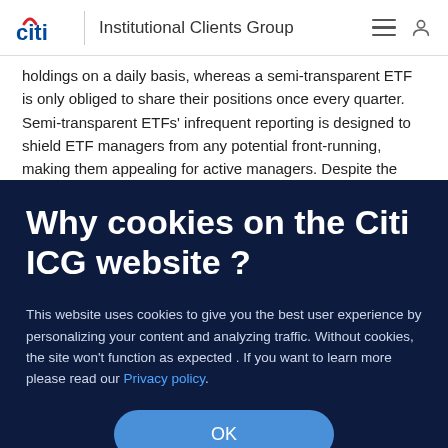citi | Institutional Clients Group
holdings on a daily basis, whereas a semi-transparent ETF is only obliged to share their positions once every quarter. Semi-transparent ETFs' infrequent reporting is designed to shield ETF managers from any potential front-running, making them appealing for active managers. Despite the potential
Why cookies on the Citi ICG website ?
This website uses cookies to give you the best user experience by personalizing your content and analyzing traffic. Without cookies, the site won't function as expected . If you want to learn more please read our Privacy policy.
OK
conversion process, as well as in trying distribute and grow the